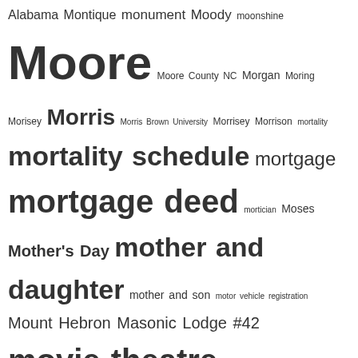[Figure (infographic): Tag cloud / word cloud featuring historical and genealogical terms. Words are displayed in varying font sizes to indicate frequency or importance. Includes terms like 'Moore', 'mortgage deed', 'murder', 'museum', 'musician', 'Nash County NC', 'National Register of Historic Places', and many others.]